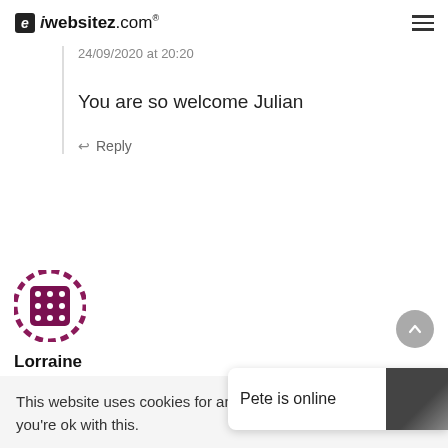iwebsitez.com®
24/09/2020 at 20:20
You are so welcome Julian
↩ Reply
[Figure (illustration): Circular avatar with purple/maroon decorative dice or dot pattern on white background]
Lorraine
30/11/2020 at 15:16
This website uses cookies for analytics purposes, we hope you're ok with this.
Pete is online